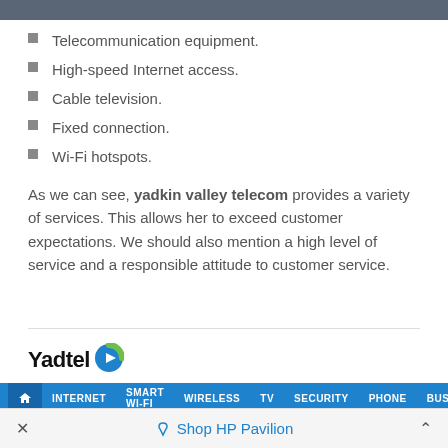Telecommunication equipment.
High-speed Internet access.
Cable television.
Fixed connection.
Wi-Fi hotspots.
As we can see, yadkin valley telecom provides a variety of services. This allows her to exceed customer expectations. We should also mention a high level of service and a responsible attitude to customer service.
[Figure (screenshot): Screenshot of Yadtel website showing logo and navigation bar with items: INTERNET, SMART WI-FI, WIRELESS, TV, SECURITY, PHONE, BUSINESS]
× Shop HP Pavilion ^